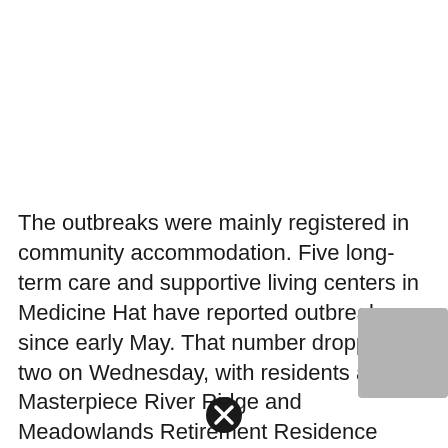The outbreaks were mainly registered in community accommodation. Five long-term care and supportive living centers in Medicine Hat have reported outbreaks since early May. That number dropped to two on Wednesday, with residents at the Masterpiece River Ridge and Meadowlands Retirement Residence continuing to test positive.
Larry Roberts, communications director for Revera — the company that monitors Meadowlands — confirmed the center's outbreak began on March 31. A total of 20 residents were affected, 18 of whom have recovered.
[Figure (other): Close/dismiss button icon — black circle with white X]